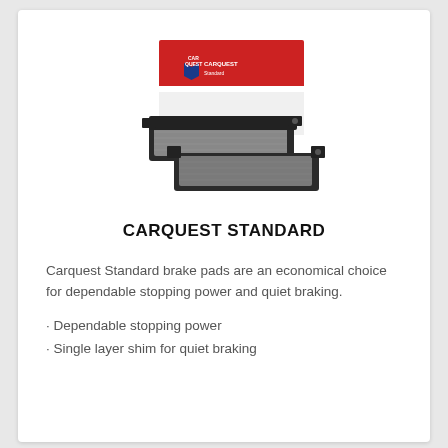[Figure (photo): CarQuest branded brake pads with red and white product box showing CarQuest logo]
CARQUEST STANDARD
Carquest Standard brake pads are an economical choice for dependable stopping power and quiet braking.
Dependable stopping power
Single layer shim for quiet braking